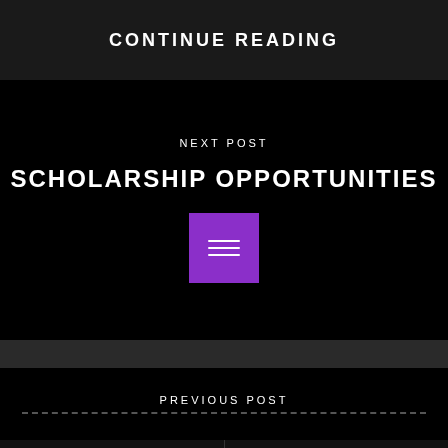CONTINUE READING
NEXT POST
SCHOLARSHIP OPPORTUNITIES
[Figure (illustration): Purple square icon with three horizontal white lines (hamburger/document menu icon)]
PREVIOUS POST